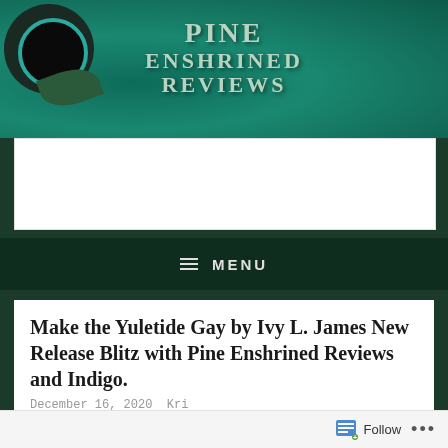[Figure (logo): Pine Enshrined Reviews website banner with teal/green background, coffee cup, plant leaves, and bold serif title text reading PINE ENSHRINED REVIEWS]
[Figure (other): White advertisement placeholder bar]
≡ MENU
Make the Yuletide Gay by Ivy L. James New Release Blitz with Pine Enshrined Reviews and Indigo.
December 16, 2020  Kri
Follow  •••